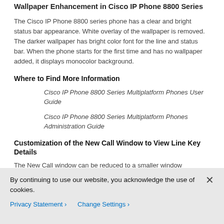Wallpaper Enhancement in Cisco IP Phone 8800 Series
The Cisco IP Phone 8800 series phone has a clear and bright status bar appearance. White overlay of the wallpaper is removed. The darker wallpaper has bright color font for the line and status bar. When the phone starts for the first time and has no wallpaper added, it displays monocolor background.
Where to Find More Information
Cisco IP Phone 8800 Series Multiplatform Phones User Guide
Cisco IP Phone 8800 Series Multiplatform Phones Administration Guide
Customization of the New Call Window to View Line Key Details
The New Call window can be reduced to a smaller window
By continuing to use our website, you acknowledge the use of cookies.
Privacy Statement › Change Settings ›